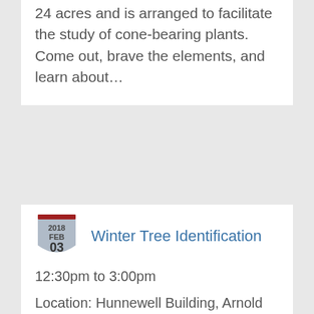24 acres and is arranged to facilitate the study of cone-bearing plants. Come out, brave the elements, and learn about…
Winter Tree Identification
12:30pm to 3:00pm
Location: Hunnewell Building, Arnold Arboretum, 125 Arborway, Boston
Without their leaves, trees can be challenging to identify in the winter. However, if you consider a tree's branching structure and buds, you